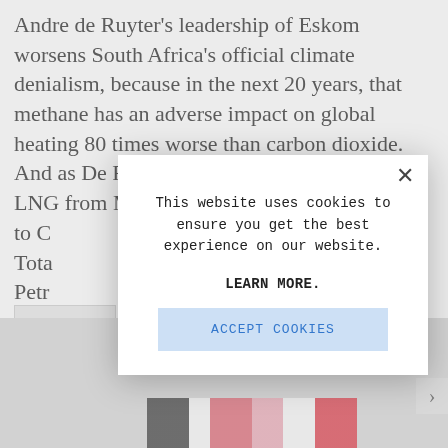Andre de Ruyter's leadership of Eskom worsens South Africa's official climate denialism, because in the next 20 years, that methane has an adverse impact on global heating 80 times worse than carbon dioxide. And as De Ruyter attempts to import more LNG from Mozambique for these gene[rators] to C[omplete] Tota[l...] Petr[...]
[Figure (screenshot): Cookie consent modal dialog overlaying an article. Modal contains text 'This website uses cookies to ensure you get the best experience on our website.' with a 'LEARN MORE.' link and an 'ACCEPT COOKIES' button. A close (X) button is in the upper right of the modal.]